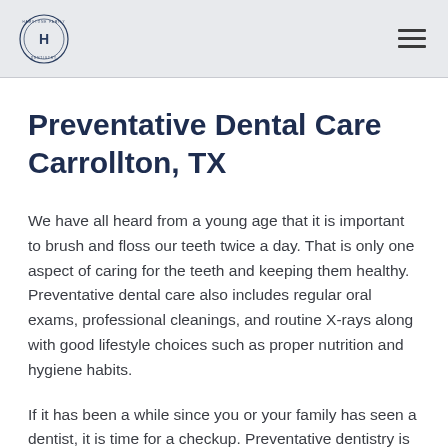Hamstone Family & Cosmetic Dentistry logo and navigation
Preventative Dental Care Carrollton, TX
We have all heard from a young age that it is important to brush and floss our teeth twice a day. That is only one aspect of caring for the teeth and keeping them healthy. Preventative dental care also includes regular oral exams, professional cleanings, and routine X-rays along with good lifestyle choices such as proper nutrition and hygiene habits.
If it has been a while since you or your family has seen a dentist, it is time for a checkup. Preventative dentistry is available at The Hamstone Family & Cosmetic Dentistry in